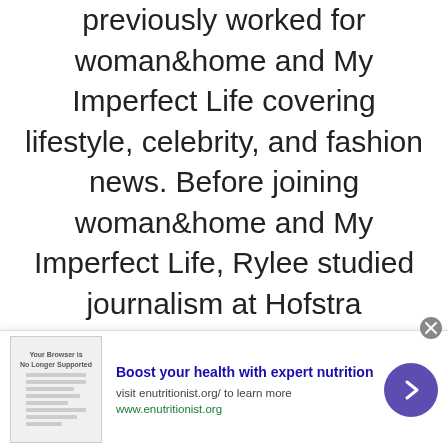previously worked for woman&home and My Imperfect Life covering lifestyle, celebrity, and fashion news. Before joining woman&home and My Imperfect Life, Rylee studied journalism at Hofstra University where she explored her interests in world politics and magazine writing. From there, she dabbled in freelance writing covering fashion and beauty e-commerce for outlets such as the TODAY show, American Spa Magazine, First for Women, and
[Figure (infographic): Advertisement banner: 'Boost your health with expert nutrition' from enutritionist.org, with a thumbnail image of a browser showing a table, a close button, and a purple arrow button.]